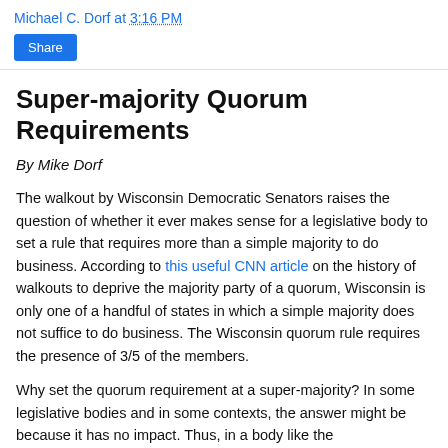Michael C. Dorf at 3:16 PM
Share
Super-majority Quorum Requirements
By Mike Dorf
The walkout by Wisconsin Democratic Senators raises the question of whether it ever makes sense for a legislative body to set a rule that requires more than a simple majority to do business.  According to this useful CNN article on the history of walkouts to deprive the majority party of a quorum, Wisconsin is only one of a handful of states in which a simple majority does not suffice to do business.  The Wisconsin quorum rule requires the presence of 3/5 of the members.
Why set the quorum requirement at a super-majority?  In some legislative bodies and in some contexts, the answer might be because it has no impact.  Thus, in a body like the